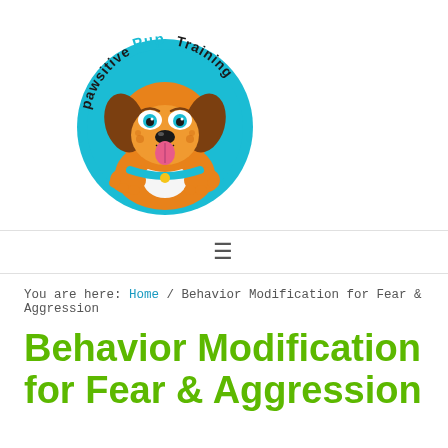[Figure (logo): Pawsitive Pup Training logo: cartoon dog face inside a teal/cyan circle, with text 'pawsitivePupTraining' arched around the circle in black and cyan handwritten style font]
≡
You are here: Home / Behavior Modification for Fear & Aggression
Behavior Modification for Fear & Aggression